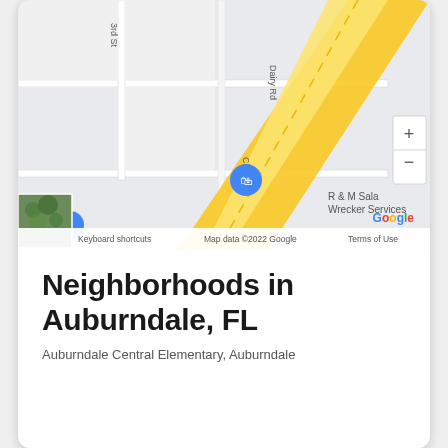[Figure (map): Google Maps screenshot showing a street map of Auburndale, FL area. Features streets labeled '3rd St', 'Dairy Rd', and 'Charlotte' running through the map. A diagonal yellow highway/road crosses the map from lower-left to upper-right. Location pin icons visible. Business label 'R & M Sala Wrecker Services' shown. Google logo visible. Map controls include zoom in (+) and zoom out (-) buttons. Bottom bar shows: 'Keyboard shortcuts', 'Map data ©2022 Google', 'Terms of Use'. Small satellite thumbnail in lower-left corner.]
Neighborhoods in Auburndale, FL
Auburndale Central Elementary, Auburndale